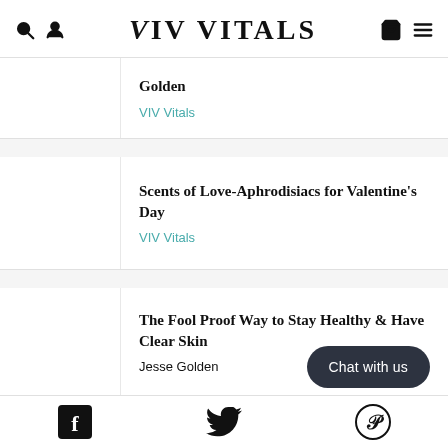VIV VITALS
Golden
VIV Vitals
Scents of Love-Aphrodisiacs for Valentine's Day
VIV Vitals
The Fool Proof Way to Stay Healthy & Have Clear Skin
Jesse Golden
Chat with us
Facebook | Twitter | Pinterest